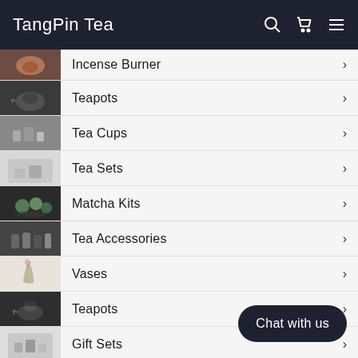TangPin Tea
Incense Burner
Teapots
Tea Cups
Tea Sets
Matcha Kits
Tea Accessories
Vases
Teapots
Gift Sets
Chat with us